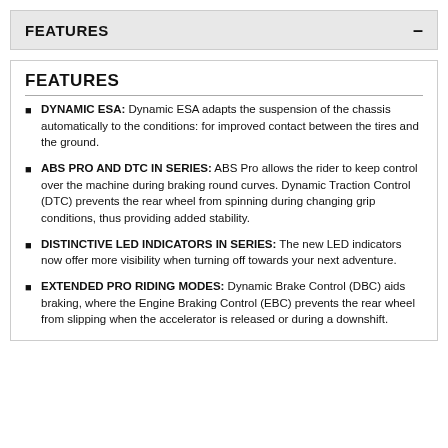FEATURES  —
FEATURES
DYNAMIC ESA: Dynamic ESA adapts the suspension of the chassis automatically to the conditions: for improved contact between the tires and the ground.
ABS PRO AND DTC IN SERIES: ABS Pro allows the rider to keep control over the machine during braking round curves. Dynamic Traction Control (DTC) prevents the rear wheel from spinning during changing grip conditions, thus providing added stability.
DISTINCTIVE LED INDICATORS IN SERIES: The new LED indicators now offer more visibility when turning off towards your next adventure.
EXTENDED PRO RIDING MODES: Dynamic Brake Control (DBC) aids braking, where the Engine Braking Control (EBC) prevents the rear wheel from slipping when the accelerator is released or during a downshift.